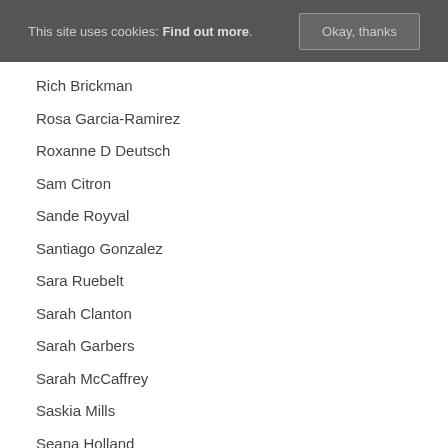This site uses cookies: Find out more. Okay, thanks
Rich Brickman
Rosa Garcia-Ramirez
Roxanne D Deutsch
Sam Citron
Sande Royval
Santiago Gonzalez
Sara Ruebelt
Sarah Clanton
Sarah Garbers
Sarah McCaffrey
Saskia Mills
Seana Holland
Sharon Hanks
Shawn Ho
Sherri Sandberg
Stephanie Yandel